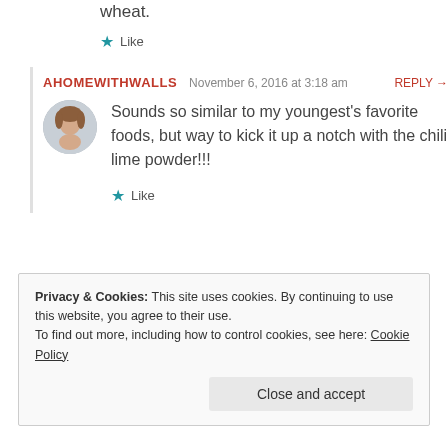wheat.
★ Like
AHOMEWITHWALLS  November 6, 2016 at 3:18 am  REPLY →
Sounds so similar to my youngest's favorite foods, but way to kick it up a notch with the chili lime powder!!!
★ Like
Privacy & Cookies: This site uses cookies. By continuing to use this website, you agree to their use. To find out more, including how to control cookies, see here: Cookie Policy
Close and accept